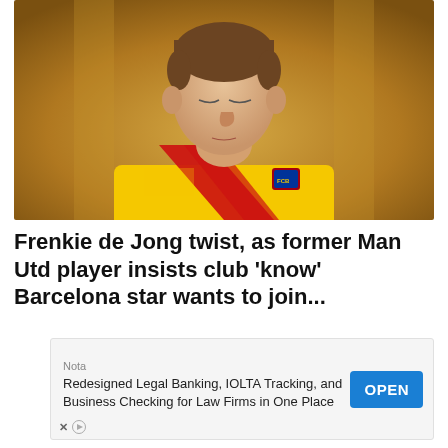[Figure (photo): A soccer player wearing a yellow Barcelona away kit with red markings, photographed from chest up with eyes closed or looking down, against a blurred background.]
Frenkie de Jong twist, as former Man Utd player insists club 'know' Barcelona star wants to join...
[Figure (other): Advertisement banner: 'Nota' label at top, text reads 'Redesigned Legal Banking, IOLTA Tracking, and Business Checking for Law Firms in One Place' with a blue OPEN button on the right, and ad attribution icons (X and play arrow) at bottom left.]